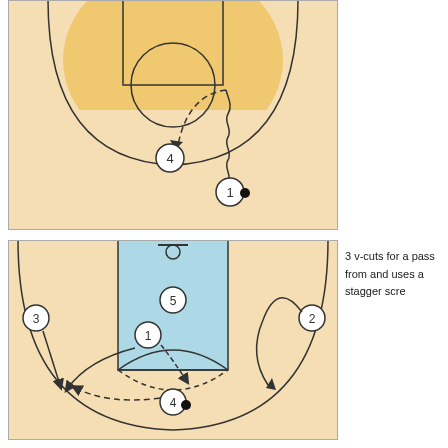[Figure (illustration): Basketball play diagram showing top half of court with players 1 and 4. Player 1 has ball (filled circle), a wavy dribble line goes up then a dashed arrow pass goes to player 4 near the key.]
[Figure (illustration): Basketball play diagram showing full half-court with players 1, 2, 3, 4, 5. Player 4 has ball near foul line extended. Arrows show player 3 v-cutting on left wing, player 1 moving through key, player 2 on right wing, stagger screen action with dashed pass arrow going left to player 3.]
3 v-cuts for a pass from and uses a stagger scre